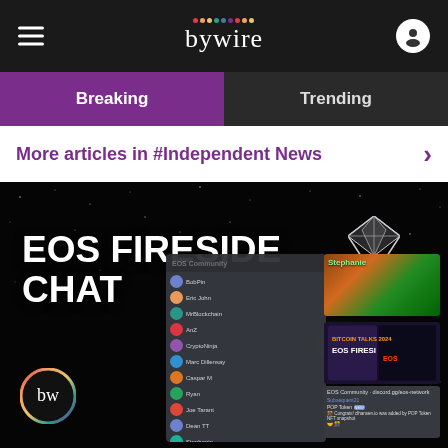bywire
Breaking
Trending
More articles in #Independent News
[Figure (screenshot): EOS Fireside Chat promotional image with space/starfield background, large white bold text reading 'EOS FIRESIDE CHAT', Discord chat panel, video thumbnails, and bywire logo circle. EOS diamond logo in upper right.]